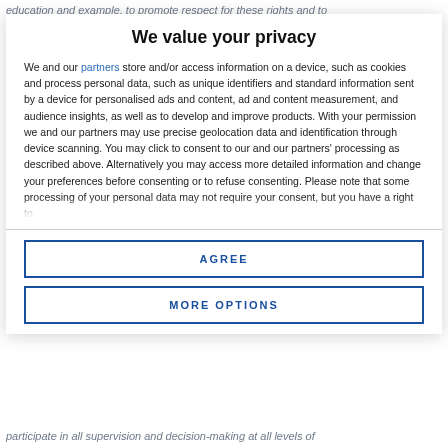education and example, to promote respect for these rights and to
We value your privacy
We and our partners store and/or access information on a device, such as cookies and process personal data, such as unique identifiers and standard information sent by a device for personalised ads and content, ad and content measurement, and audience insights, as well as to develop and improve products. With your permission we and our partners may use precise geolocation data and identification through device scanning. You may click to consent to our and our partners' processing as described above. Alternatively you may access more detailed information and change your preferences before consenting or to refuse consenting. Please note that some processing of your personal data may not require your consent, but you have a right to
AGREE
MORE OPTIONS
participate in all supervision and decision-making at all levels of